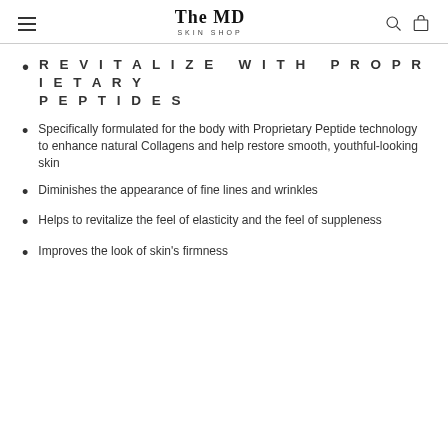The MD SKIN SHOP
REVITALIZE WITH PROPRIETARY PEPTIDES
Specifically formulated for the body with Proprietary Peptide technology to enhance natural Collagens and help restore smooth, youthful-looking skin
Diminishes the appearance of fine lines and wrinkles
Helps to revitalize the feel of elasticity and the feel of suppleness
Improves the look of skin's firmness